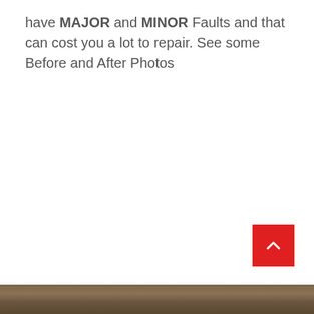have MAJOR and MINOR Faults and that can cost you a lot to repair. See some Before and After Photos
[Figure (photo): A red scroll-to-top button with a white chevron/arrow pointing upward]
[Figure (photo): Bottom strip showing the top portion of a before-and-after photo, appearing to show pavement or ground surface with brownish-grey tones]